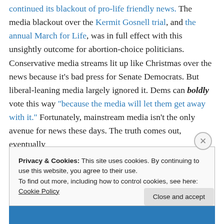continued its blackout of pro-life friendly news. The media blackout over the Kermit Gosnell trial, and the annual March for Life, was in full effect with this unsightly outcome for abortion-choice politicians. Conservative media streams lit up like Christmas over the news because it's bad press for Senate Democrats. But liberal-leaning media largely ignored it. Dems can boldly vote this way "because the media will let them get away with it." Fortunately, mainstream media isn't the only avenue for news these days. The truth comes out, eventually
Privacy & Cookies: This site uses cookies. By continuing to use this website, you agree to their use. To find out more, including how to control cookies, see here: Cookie Policy